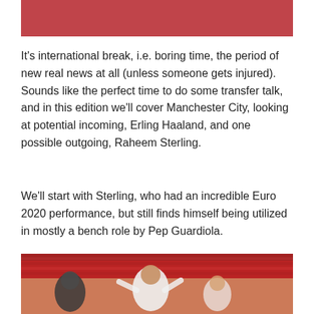[Figure (photo): Top portion of a sports/football photo with red/pink tones, partially cropped]
It's international break, i.e. boring time, the period of new real news at all (unless someone gets injured). Sounds like the perfect time to do some transfer talk, and in this edition we'll cover Manchester City, looking at potential incoming, Erling Haaland, and one possible outgoing, Raheem Sterling.
We'll start with Sterling, who had an incredible Euro 2020 performance, but still finds himself being utilized in mostly a bench role by Pep Guardiola.
[Figure (photo): Football players celebrating, Raheem Sterling in white England kit, crowd in background with red stadium seats]